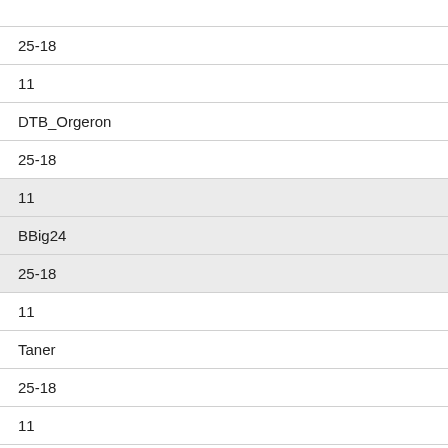|  |
| 25-18 |
| 11 |
| DTB_Orgeron |
| 25-18 |
| 11 |
| BBig24 |
| 25-18 |
| 11 |
| Taner |
| 25-18 |
| 11 |
| crawford30341 |
|  |